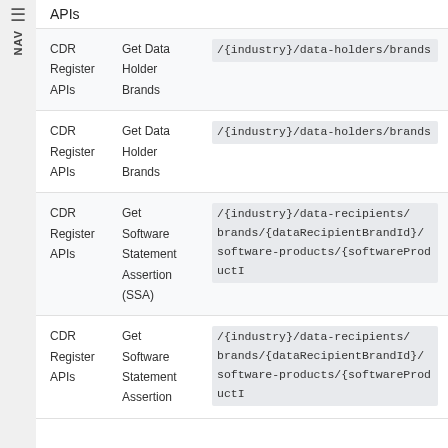APIs
|  |  |  |
| --- | --- | --- |
| CDR Register APIs | Get Data Holder Brands | /{industry}/data-holders/brands |
| CDR Register APIs | Get Data Holder Brands | /{industry}/data-holders/brands |
| CDR Register APIs | Get Software Statement Assertion (SSA) | /{industry}/data-recipients/brands/{dataRecipientBrandId}/software-products/{softwareProductI... |
| CDR Register APIs | Get Software Statement Assertion | /{industry}/data-recipients/brands/{dataRecipientBrandId}/software-products/{softwareProductI... |